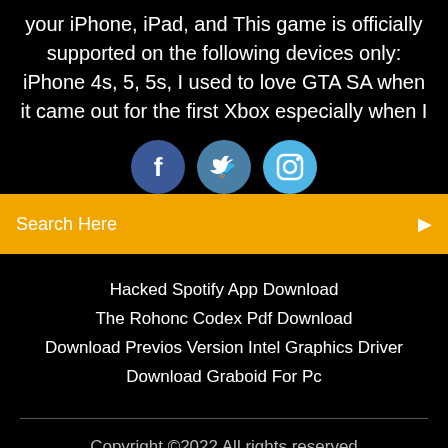your iPhone, iPad, and This game is officially supported on the following devices only: iPhone 4s, 5, 5s, I used to love GTA SA when it came out for the first Xbox especially when I
[Figure (other): Three social media icon buttons: Facebook (dark blue circle with f), Twitter (medium blue circle with bird icon), Instagram (light blue circle with camera icon)]
Search Here
Hacked Spotify App Download
The Rohonc Codex Pdf Download
Download Previos Version Intel Graphics Driver
Download Graboid For Pc
Copyright ©2022 All rights reserved